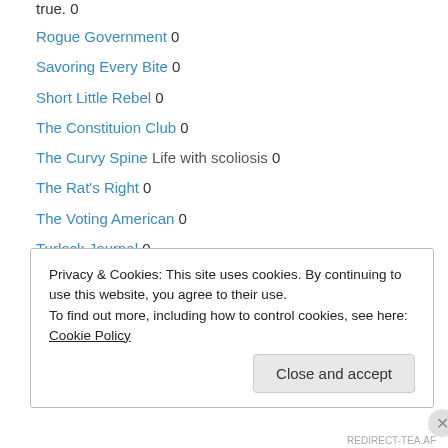true. 0
Rogue Government 0
Savoring Every Bite 0
Short Little Rebel 0
The Constituion Club 0
The Curvy Spine Life with scoliosis 0
The Rat's Right 0
The Voting American 0
Turlock Journal 0
Uncle Sam's Boot This is my blog that carries articles for all the public to see. 0
Uppity Woman 0
White Lady In The Hood 0
Privacy & Cookies: This site uses cookies. By continuing to use this website, you agree to their use.
To find out more, including how to control cookies, see here: Cookie Policy
REDIRECT-TEA.AF